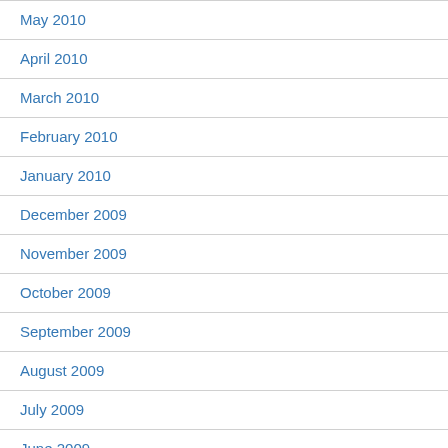May 2010
April 2010
March 2010
February 2010
January 2010
December 2009
November 2009
October 2009
September 2009
August 2009
July 2009
June 2009
May 2009